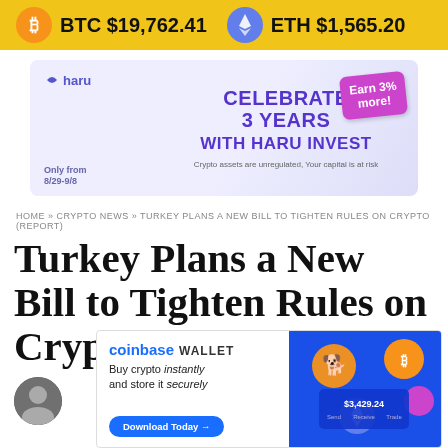BTC $19,762.41  ETH $1,565.20
[Figure (infographic): Haru Invest advertisement banner: Celebrate 3 Years with Haru Invest, Earn 3% more, Only from 8/29-9/8, Crypto assets are unregulated, Your capital is at risk]
HOME » CRYPTO NEWS » TURKEY PLANS A NEW BILL TO TIGHTEN RULES ON CRYPTO (REPORT)
Turkey Plans a New Bill to Tighten Rules on Crypto (Report)
[Figure (infographic): Coinbase Wallet advertisement: Buy crypto instantly and store it securely. Download Today. Shows wallet UI with $3,429.24 balance.]